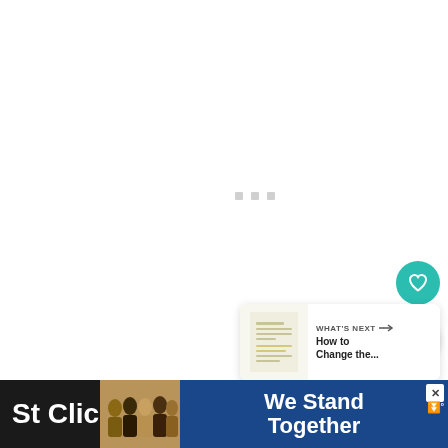[Figure (screenshot): White content loading area with three grey square dots in the center indicating a loading state]
[Figure (other): Teal circular favorite/heart button on the right side]
[Figure (other): White circular share button with share icon on the right side]
[Figure (other): What's Next panel showing a thumbnail and text 'WHAT'S NEXT → How to Change the...']
St... Click the Slide... save y...
[Figure (photo): Advertisement banner with people hugging and text 'We Stand Together' on blue background with close button]